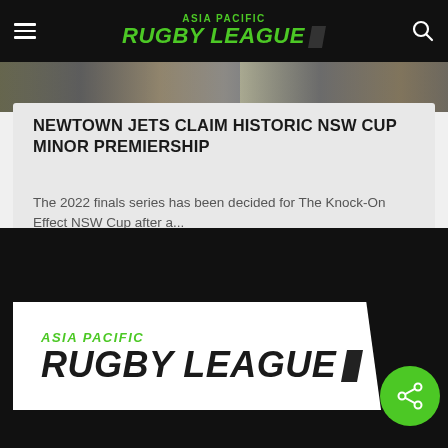Asia Pacific Rugby League — navigation bar with hamburger menu, logo, and search icon
[Figure (photo): Partial cropped action photo strip from a rugby league match]
NEWTOWN JETS CLAIM HISTORIC NSW CUP MINOR PREMIERSHIP
The 2022 finals series has been decided for The Knock-On Effect NSW Cup after a...
[Figure (logo): Asia Pacific Rugby League logo in white box with green italic text, positioned in dark footer section]
[Figure (infographic): Green circular share button with share/network icon]